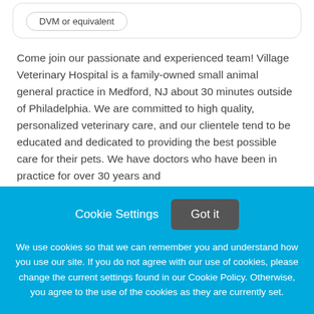DVM or equivalent
Come join our passionate and experienced team! Village Veterinary Hospital is a family-owned small animal general practice in Medford, NJ about 30 minutes outside of Philadelphia. We are committed to high quality, personalized veterinary care, and our clientele tend to be educated and dedicated to providing the best possible care for their pets. We have doctors who have been in practice for over 30 years and
Cookie Settings
Got it
We use cookies so that we can remember you and understand how you use our site. If you do not agree with our use of cookies, please change the current settings found in our Cookie Policy. Otherwise, you agree to the use of the cookies as they are currently set.